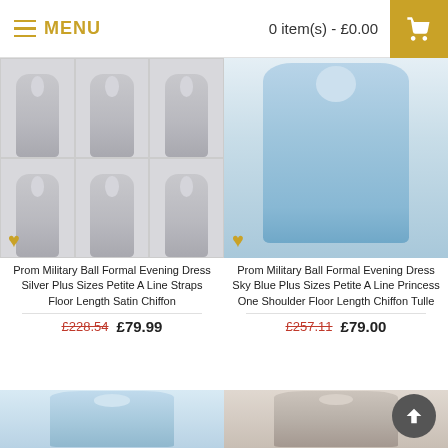MENU  |  0 item(s) - £0.00
[Figure (photo): Product photo collage of silver formal dress shown in 6 variations]
Prom Military Ball Formal Evening Dress Silver Plus Sizes Petite A Line Straps Floor Length Satin Chiffon
£228.54  £79.99
[Figure (photo): Product photo of sky blue formal dress with one shoulder, floor length chiffon tulle]
Prom Military Ball Formal Evening Dress Sky Blue Plus Sizes Petite A Line Princess One Shoulder Floor Length Chiffon Tulle
£257.11  £79.00
[Figure (photo): Product photo of light blue formal dress]
[Figure (photo): Product photo of light beige/cream formal dress]